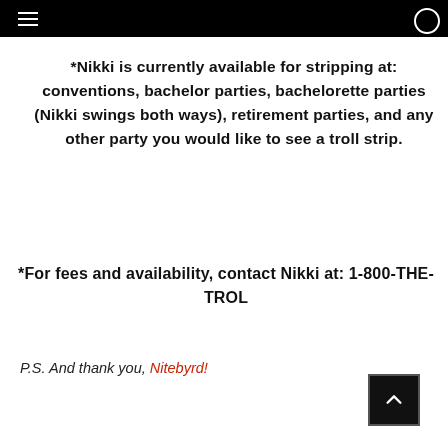*Nikki is currently available for stripping at: conventions, bachelor parties, bachelorette parties (Nikki swings both ways), retirement parties, and any other party you would like to see a troll strip.
*For fees and availability, contact Nikki at: 1-800-THE-TROL
P.S. And thank you, Nitebyrd!